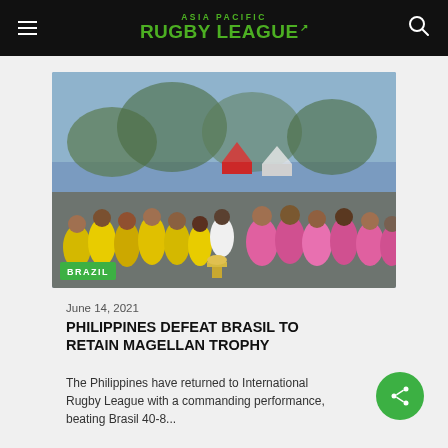ASIA PACIFIC RUGBY LEAGUE
[Figure (photo): Group photo of rugby league players from Philippines and Brasil teams celebrating together on a field, with a BRAZIL label overlay in the bottom left corner.]
June 14, 2021
PHILIPPINES DEFEAT BRASIL TO RETAIN MAGELLAN TROPHY
The Philippines have returned to International Rugby League with a commanding performance, beating Brasil 40-8...